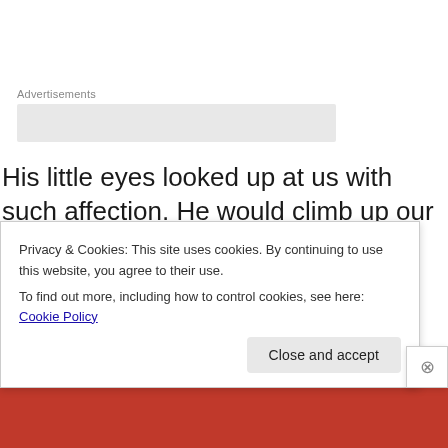Advertisements
His little eyes looked up at us with such affection. He would climb up our bodies like a mountain goat and literally grab us in a tiny bear hug. What more would you expect from a pet who grew up with us as we were building our family, raising a son, and making a life together. What else but a dog that loves cuddles could
Privacy & Cookies: This site uses cookies. By continuing to use this website, you agree to their use.
To find out more, including how to control cookies, see here: Cookie Policy
Close and accept